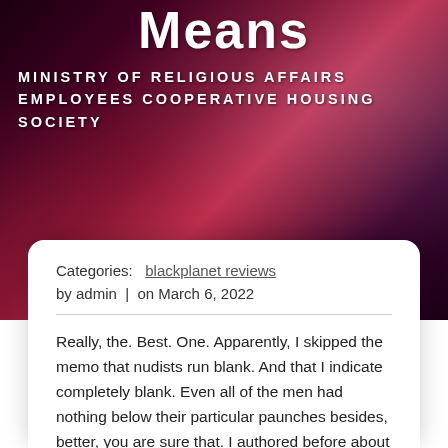Means
MINISTRY OF RELIGIOUS AFFAIRS EMPLOYEES COOPERATIVE HOUSING SOCIETY
Categories: blackplanet reviews
by admin | on March 6, 2022
Really, the. Best. One. Apparently, I skipped the memo that nudists run blank. And that I indicate completely blank. Even all of the men had nothing below their particular paunches besides, better, you are sure that. I authored before about precisely why I choose to rock and roll the full plant, but at Hedonism, I found myself truly tried to embrace my choice completely. Practically